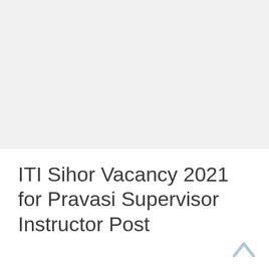ITI Sihor Vacancy 2021 for Pravasi Supervisor Instructor Post